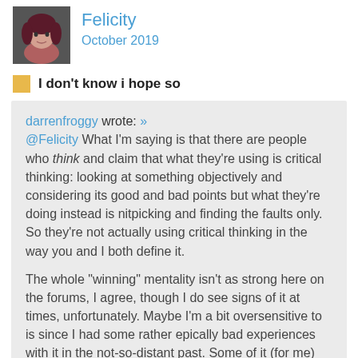[Figure (photo): Avatar photo of a person with dark red/maroon hair]
Felicity
October 2019
I don't know i hope so
darrenfroggy wrote: » @Felicity What I'm saying is that there are people who think and claim that what they're using is critical thinking: looking at something objectively and considering its good and bad points but what they're doing instead is nitpicking and finding the faults only. So they're not actually using critical thinking in the way you and I both define it.

The whole "winning" mentality isn't as strong here on the forums, I agree, though I do see signs of it at times, unfortunately. Maybe I'm a bit oversensitive to is since I had some rather epically bad experiences with it in the not-so-distant past. Some of it (for me) would be comments in the lines of "well, I know this is going to be bad" before we know anything about content that's coming. Along with "if X doesn't contain this thing, I'm not going to touch it" (paraphrasing